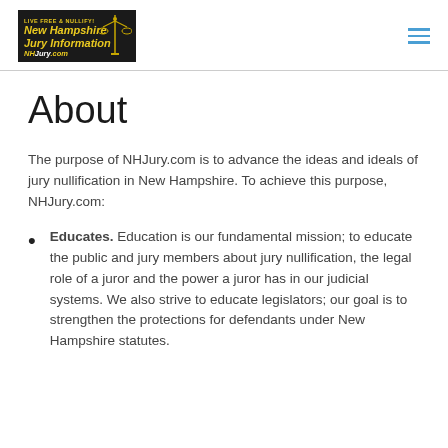[Figure (logo): New Hampshire Jury Information logo with yellow text on black background, showing scales of justice icon. Text reads: LIVE FREE & NULLIFY! New Hampshire Jury Information NHJury.com]
The purpose of NHJury.com is to advance the ideas and ideals of jury nullification in New Hampshire. To achieve this purpose, NHJury.com:
About
Educates. Education is our fundamental mission; to educate the public and jury members about jury nullification, the legal role of a juror and the power a juror has in our judicial systems. We also strive to educate legislators; our goal is to strengthen the protections for defendants under New Hampshire statutes.